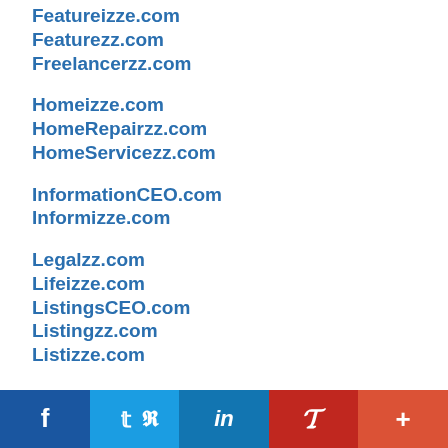Featureizze.com
Featurezz.com
Freelancerzz.com
Homeizze.com
HomeRepairzz.com
HomeServicezz.com
InformationCEO.com
Informizze.com
Legalzz.com
Lifeizze.com
ListingsCEO.com
Listingzz.com
Listizze.com
[Figure (other): Social sharing bar with Facebook, Twitter, LinkedIn, Pinterest, and More buttons]